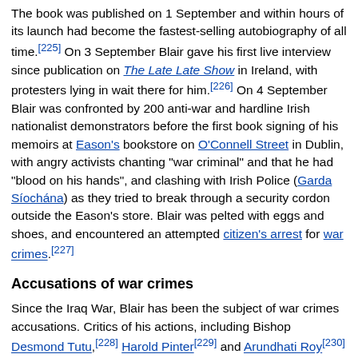The book was published on 1 September and within hours of its launch had become the fastest-selling autobiography of all time.[225] On 3 September Blair gave his first live interview since publication on The Late Late Show in Ireland, with protesters lying in wait there for him.[226] On 4 September Blair was confronted by 200 anti-war and hardline Irish nationalist demonstrators before the first book signing of his memoirs at Eason's bookstore on O'Connell Street in Dublin, with angry activists chanting "war criminal" and that he had "blood on his hands", and clashing with Irish Police (Garda Síochána) as they tried to break through a security cordon outside the Eason's store. Blair was pelted with eggs and shoes, and encountered an attempted citizen's arrest for war crimes.[227]
Accusations of war crimes
Since the Iraq War, Blair has been the subject of war crimes accusations. Critics of his actions, including Bishop Desmond Tutu,[228] Harold Pinter[229] and Arundhati Roy[230] have called for his trial at the International Criminal Court.
In November 2011, a war crimes tribunal of the Kuala Lumpur War Crimes Commission, established by Malaysia's former prime minister Mahathir Mohamad, reached a unanimous conclusion that